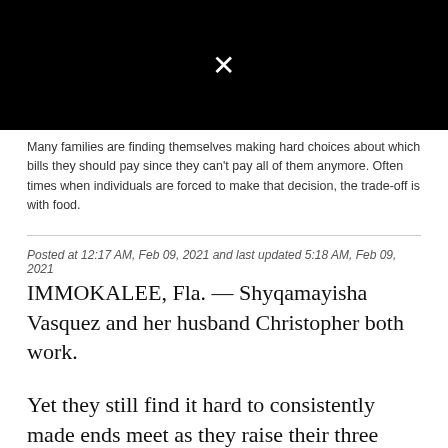[Figure (other): Black video thumbnail with white X icon in the center]
Many families are finding themselves making hard choices about which bills they should pay since they can't pay all of them anymore. Often times when individuals are forced to make that decision, the trade-off is with food.
Posted at 12:17 AM, Feb 09, 2021 and last updated 5:18 AM, Feb 09, 2021
IMMOKALEE, Fla. — Shyqamayisha Vasquez and her husband Christopher both work.
Yet they still find it hard to consistently made ends meet as they raise their three children.